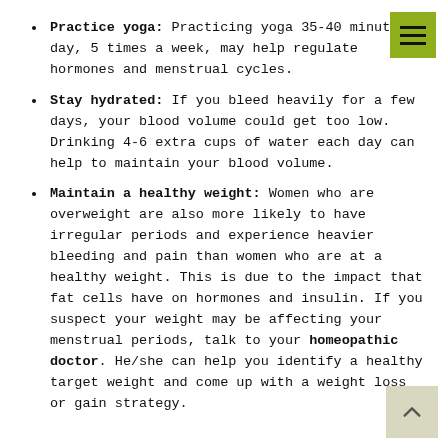Practice yoga: Practicing yoga 35-40 minutes a day, 5 times a week, may help regulate hormones and menstrual cycles.
Stay hydrated: If you bleed heavily for a few days, your blood volume could get too low. Drinking 4-6 extra cups of water each day can help to maintain your blood volume.
Maintain a healthy weight: Women who are overweight are also more likely to have irregular periods and experience heavier bleeding and pain than women who are at a healthy weight. This is due to the impact that fat cells have on hormones and insulin. If you suspect your weight may be affecting your menstrual periods, talk to your homeopathic doctor. He/she can help you identify a healthy target weight and come up with a weight loss or gain strategy.